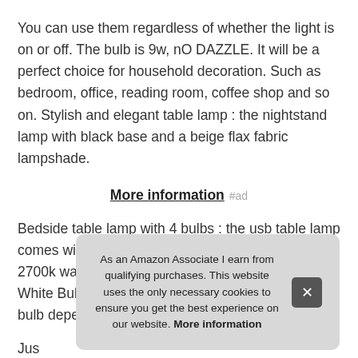You can use them regardless of whether the light is on or off. The bulb is 9w, nO DAZZLE. It will be a perfect choice for household decoration. Such as bedroom, office, reading room, coffee shop and so on. Stylish and elegant table lamp : the nightstand lamp with black base and a beige flax fabric lampshade.
More information #ad
Bedside table lamp with 4 bulbs : the usb table lamp comes with 4 led bulbs, brightness 810 lumen, dual 2700k warm white bulbs and dual 5000K Cool White Bulbs, NO FLICKER, you can exchange the bulb depends on your needs.
Jus... you... sch... : we...
As an Amazon Associate I earn from qualifying purchases. This website uses the only necessary cookies to ensure you get the best experience on our website. More information